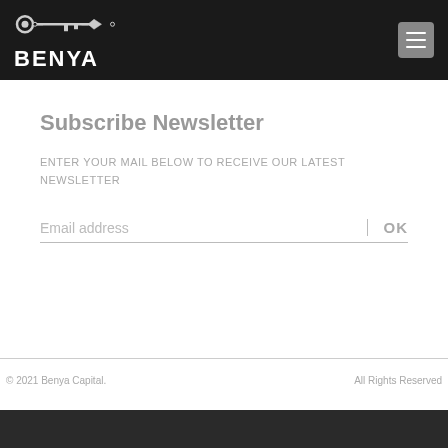BENYA
Subscribe Newsletter
ENTER YOUR MAIL BELOW TO RECEIVE OUR LATEST NEWSLETTER
Email address OK
© 2021 Benya Capital.   All Rights Reserved